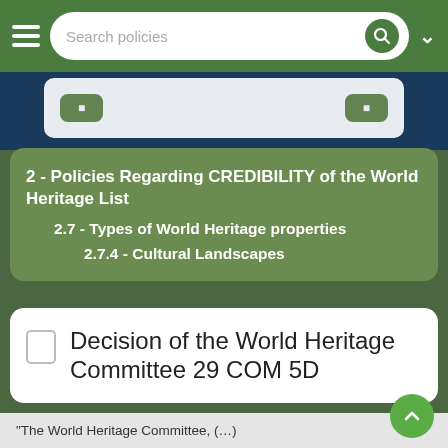Search policies
2 - Policies Regarding CREDIBILITY of the World Heritage List
2.7 - Types of World Heritage properties
2.7.4 - Cultural Landscapes
Decision of the World Heritage Committee 29 COM 5D
"The World Heritage Committee, (…)

4. Encourages States Parties to integrate the notion of historic urban landscape in nomination proposals and in the elaboration of management plans of properties nominated for inscription on the World Heritage List;